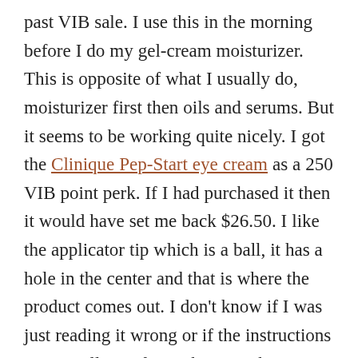past VIB sale. I use this in the morning before I do my gel-cream moisturizer. This is opposite of what I usually do, moisturizer first then oils and serums. But it seems to be working quite nicely. I got the Clinique Pep-Start eye cream as a 250 VIB point perk. If I had purchased it then it would have set me back $26.50. I like the applicator tip which is a ball, it has a hole in the center and that is where the product comes out. I don't know if I was just reading it wrong or if the instructions are actually confusing but it took me two freaking days to figure out how to open it. I started by popping the whole top off and dipping it in the cream. I felt so stupid once I figured it out (accidentally!)